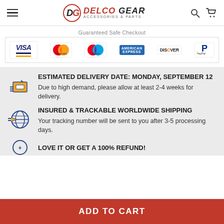Delco Gear — Accessories & Parts
Guaranteed Safe Checkout
[Figure (logo): Payment method logos: Visa, Mastercard, Maestro, American Express, Discover, PayPal]
ESTIMATED DELIVERY DATE: MONDAY, SEPTEMBER 12
Due to high demand, please allow at least 2-4 weeks for delivery.
INSURED & TRACKABLE WORLDWIDE SHIPPING
Your tracking number will be sent to you after 3-5 processing days.
LOVE IT OR GET A 100% REFUND!
ADD TO CART